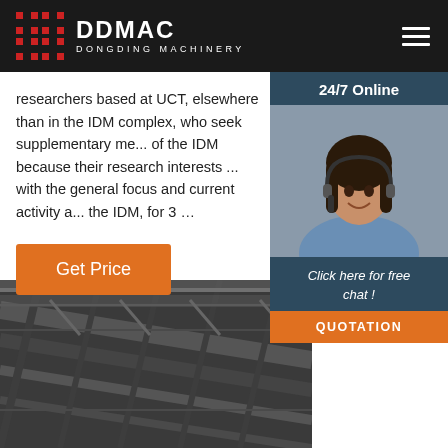DDMAC DONGDING MACHINERY
researchers based at UCT, elsewhere than in the IDM complex, who seek supplementary me... of the IDM because their research interests ... with the general focus and current activity a... the IDM, for 3 …
[Figure (photo): Customer service agent with headset, 24/7 Online chat widget with 'Click here for free chat!' and QUOTATION button]
[Figure (photo): Industrial building interior showing steel roof trusses and structural framework, black and white photo]
Get Price
Click here for free chat !
QUOTATION